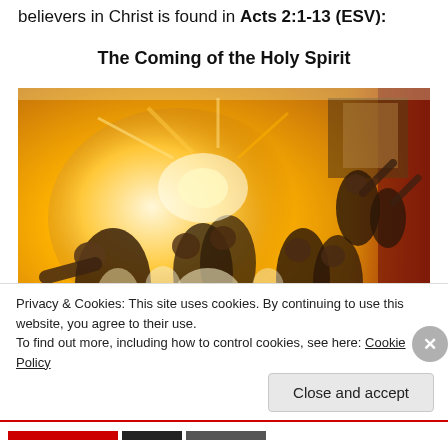believers in Christ is found in Acts 2:1-13 (ESV):
The Coming of the Holy Spirit
[Figure (illustration): Painting depicting the coming of the Holy Spirit at Pentecost — figures in biblical robes surrounded by flames and golden light, arms raised, in a dramatic scene.]
Privacy & Cookies: This site uses cookies. By continuing to use this website, you agree to their use.
To find out more, including how to control cookies, see here: Cookie Policy
Close and accept